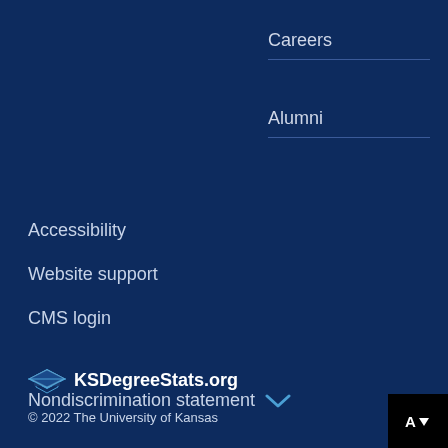Careers
Alumni
Accessibility
Website support
CMS login
[Figure (logo): KSDegreeStats.org logo with graduation cap icon]
© 2022 The University of Kansas
Nondiscrimination statement